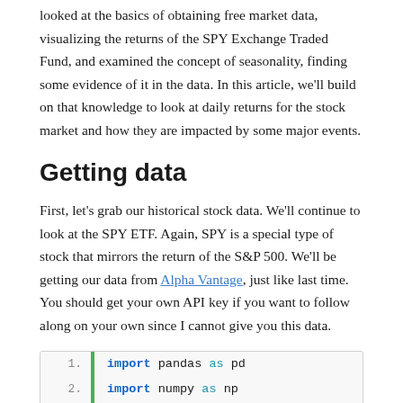looked at the basics of obtaining free market data, visualizing the returns of the SPY Exchange Traded Fund, and examined the concept of seasonality, finding some evidence of it in the data. In this article, we'll build on that knowledge to look at daily returns for the stock market and how they are impacted by some major events.
Getting data
First, let's grab our historical stock data. We'll continue to look at the SPY ETF. Again, SPY is a special type of stock that mirrors the return of the S&P 500. We'll be getting our data from Alpha Vantage, just like last time. You should get your own API key if you want to follow along on your own since I cannot give you this data.
[Figure (screenshot): Code block showing Python imports: 1. import pandas as pd, 2. import numpy as np, 3. import os, 4. (empty/partial)]